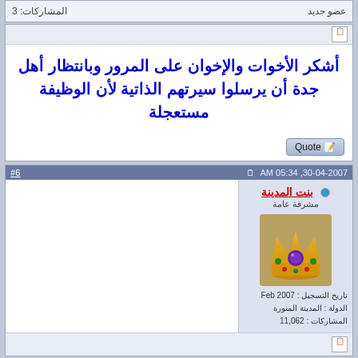المشاركات: 3 | عضو جديد
أشكر الأخوات والإخوان على المرور وبانتظار أهل جدة أن يرسلوا سيرتهم الذاتية لأن الوظيفة مستعجلة
#6  30-04-2007 ,05:34 AM
بنت المدينة
مشرفة عامة
تاريخ التسجيل: Feb 2007
الدولة: المدينة المنورة
المشاركات: 11,062